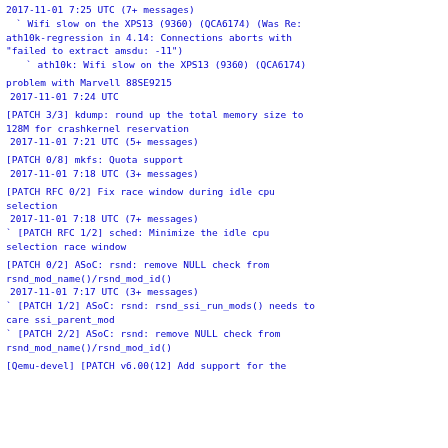2017-11-01  7:25 UTC  (7+ messages)
  ` Wifi slow on the XPS13 (9360) (QCA6174) (Was Re: ath10k-regression in 4.14: Connections aborts with "failed to extract amsdu: -11")
       ` ath10k: Wifi slow on the XPS13 (9360) (QCA6174)
problem with Marvell 88SE9215
 2017-11-01  7:24 UTC
[PATCH 3/3] kdump: round up the total memory size to 128M for crashkernel reservation
 2017-11-01  7:21 UTC  (5+ messages)
[PATCH 0/8] mkfs: Quota support
 2017-11-01  7:18 UTC  (3+ messages)
[PATCH RFC 0/2] Fix race window during idle cpu selection
 2017-11-01  7:18 UTC  (7+ messages)
` [PATCH RFC 1/2] sched: Minimize the idle cpu selection race window
[PATCH 0/2] ASoC: rsnd: remove NULL check from rsnd_mod_name()/rsnd_mod_id()
 2017-11-01  7:17 UTC  (3+ messages)
` [PATCH 1/2] ASoC: rsnd: rsnd_ssi_run_mods() needs to care ssi_parent_mod
` [PATCH 2/2] ASoC: rsnd: remove NULL check from rsnd_mod_name()/rsnd_mod_id()
[Qemu-devel] [PATCH v6.00(12] Add support for the